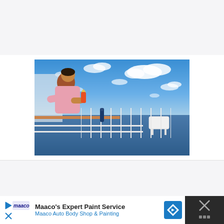[Figure (photo): Man in pink shirt leaning on cruise ship railing, holding a drink, looking out at the ocean under a blue sky with white clouds.]
Maaco's Expert Paint Service
Maaco Auto Body Shop & Painting